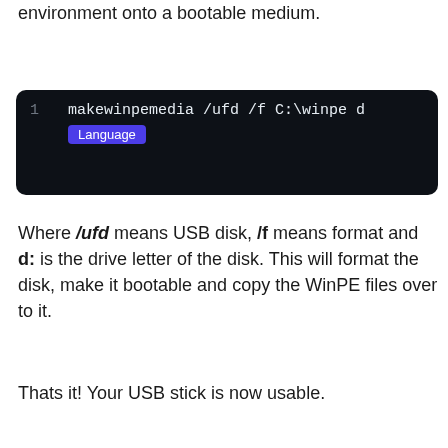Finally, you need to move the pe environment onto a bootable medium.
[Figure (screenshot): Code block showing: 1   makewinpemedia /ufd /f C:\winpe   with a 'Language' label tag below]
Where /ufd means USB disk, /f means format and d: is the drive letter of the disk. This will format the disk, make it bootable and copy the WinPE files over to it.
Thats it! Your USB stick is now usable.